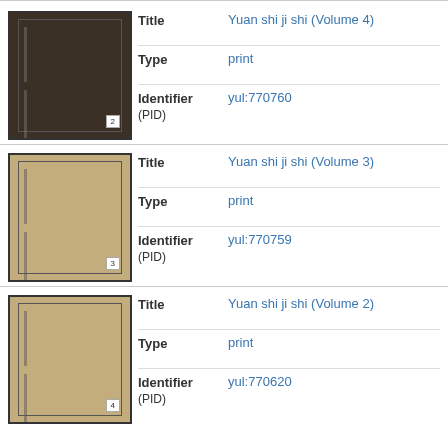[Figure (photo): Thumbnail of book cover for Yuan shi ji shi Volume 4, dark brown/black cover with inner border frame and vertical lines]
| Title | Yuan shi ji shi (Volume 4) |
| Type | print |
| Identifier
(PID) | yul:770760 |
[Figure (photo): Thumbnail of book cover for Yuan shi ji shi Volume 3, tan/khaki cover with inner border frame and vertical lines]
| Title | Yuan shi ji shi (Volume 3) |
| Type | print |
| Identifier
(PID) | yul:770759 |
[Figure (photo): Thumbnail of book cover for Yuan shi ji shi Volume 2, tan/khaki cover with inner border frame and vertical lines]
| Title | Yuan shi ji shi (Volume 2) |
| Type | print |
| Identifier
(PID) | yul:770620 |